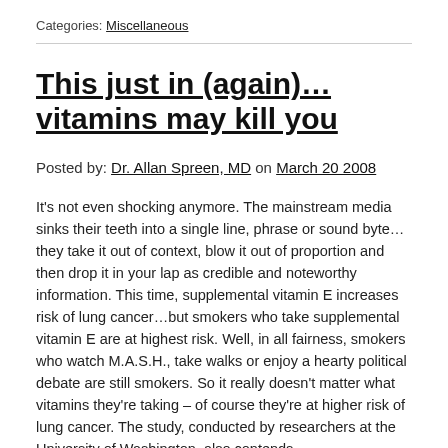Categories: Miscellaneous
This just in (again)…vitamins may kill you
Posted by: Dr. Allan Spreen, MD on March 20 2008
It's not even shocking anymore. The mainstream media sinks their teeth into a single line, phrase or sound byte…they take it out of context, blow it out of proportion and then drop it in your lap as credible and noteworthy information. This time, supplemental vitamin E increases risk of lung cancer…but smokers who take supplemental vitamin E are at highest risk. Well, in all fairness, smokers who watch M.A.S.H., take walks or enjoy a hearty political debate are still smokers. So it really doesn't matter what vitamins they're taking – of course they're at higher risk of lung cancer. The study, conducted by researchers at the University of Washington, also contends